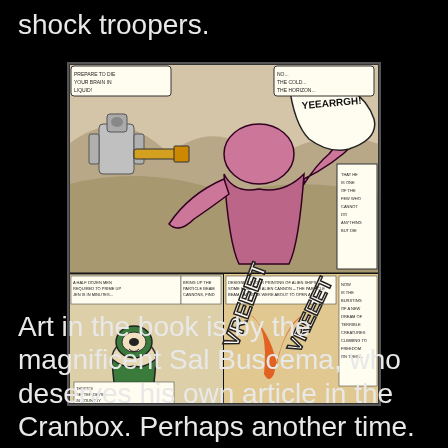shock troopers.
[Figure (illustration): Comic book panel showing action scenes with superheroes and villains. Top panel features a large battle scene with a pink/red figure screaming 'YEEARRGH!' being attacked by a robotic figure. Bottom panels show more action with characters firing energy blasts with sound effects 'VREEET' and 'VREEET'.]
Art in the book is by the magnificent Sal Buscema, who deserves his own article in the Cranbox. Perhaps another time.